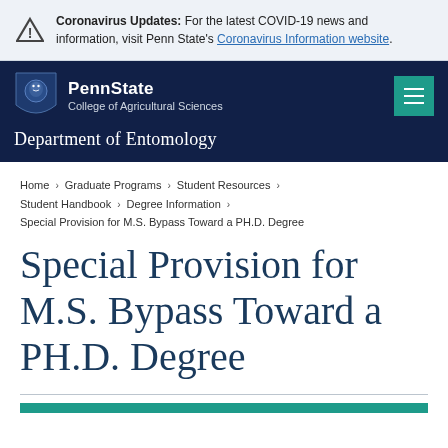Coronavirus Updates: For the latest COVID-19 news and information, visit Penn State's Coronavirus Information website.
PennState College of Agricultural Sciences — Department of Entomology
Home > Graduate Programs > Student Resources > Student Handbook > Degree Information > Special Provision for M.S. Bypass Toward a PH.D. Degree
Special Provision for M.S. Bypass Toward a PH.D. Degree